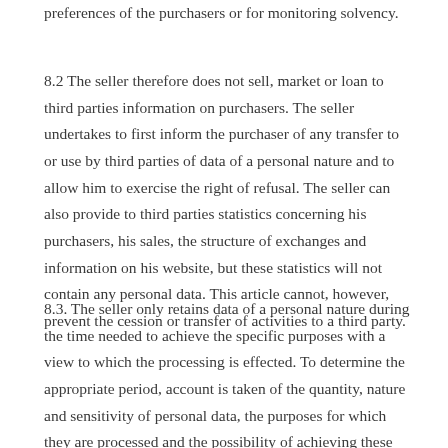preferences of the purchasers or for monitoring solvency.
8.2 The seller therefore does not sell, market or loan to third parties information on purchasers. The seller undertakes to first inform the purchaser of any transfer to or use by third parties of data of a personal nature and to allow him to exercise the right of refusal. The seller can also provide to third parties statistics concerning his purchasers, his sales, the structure of exchanges and information on his website, but these statistics will not contain any personal data. This article cannot, however, prevent the cession or transfer of activities to a third party.
8.3. The seller only retains data of a personal nature during the time needed to achieve the specific purposes with a view to which the processing is effected. To determine the appropriate period, account is taken of the quantity, nature and sensitivity of personal data, the purposes for which they are processed and the possibility of achieving these purposes